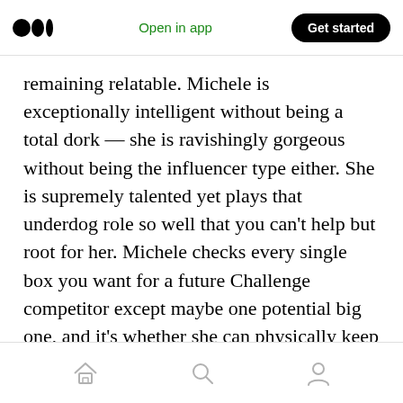Medium logo | Open in app | Get started
remaining relatable. Michele is exceptionally intelligent without being a total dork — she is ravishingly gorgeous without being the influencer type either. She is supremely talented yet plays that underdog role so well that you can't help but root for her. Michele checks every single box you want for a future Challenge competitor except maybe one potential big one, and it's whether she can physically keep up with this show's best athletes.
Player Vitals & Stats
Home | Search | Profile